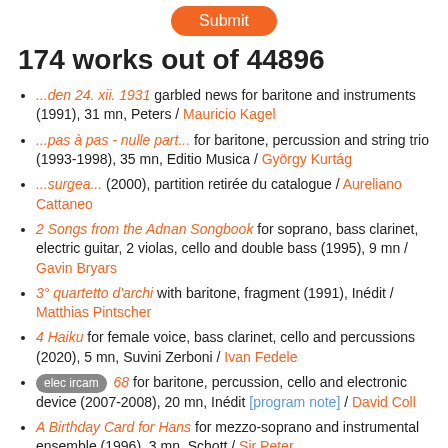Submit
174 works out of 44896
...den 24. xii. 1931 garbled news for baritone and instruments (1991), 31 mn, Peters / Mauricio Kagel
...pas à pas - nulle part... for baritone, percussion and string trio (1993-1998), 35 mn, Editio Musica / György Kurtág
...surgea... (2000), partition retirée du catalogue / Aureliano Cattaneo
2 Songs from the Adnan Songbook for soprano, bass clarinet, electric guitar, 2 violas, cello and double bass (1995), 9 mn / Gavin Bryars
3° quartetto d'archi with baritone, fragment (1991), Inédit / Matthias Pintscher
4 Haiku for female voice, bass clarinet, cello and percussions (2020), 5 mn, Suvini Zerboni / Ivan Fedele
elec ircam 68 for baritone, percussion, cello and electronic device (2007-2008), 20 mn, Inédit [program note] / David Coll
A Birthday Card for Hans for mezzo-soprano and instrumental ensemble (1996), 3 mn, Schott / Sir Peter